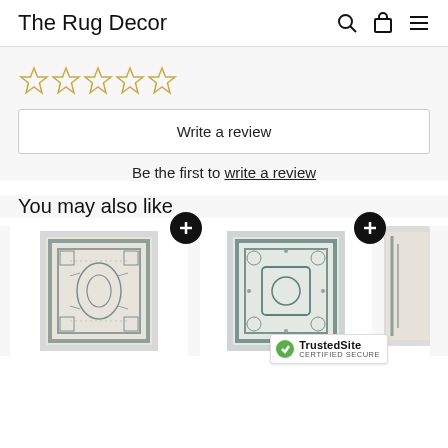The Rug Decor
[Figure (other): Five empty star rating icons in gold/beige outline]
Write a review
Be the first to write a review
You may also like
[Figure (photo): Two rug product thumbnails with plus/add buttons, and a partial third rug on the right edge. A TrustedSite certified secure badge appears in the bottom right corner.]